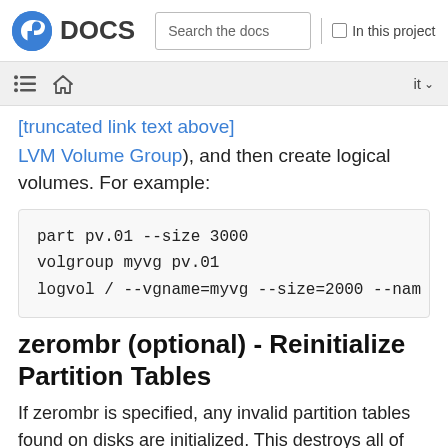DOCS   Search the docs   In this project
LVM Volume Group), and then create logical volumes. For example:
part pv.01 --size 3000
volgroup myvg pv.01
logvol / --vgname=myvg --size=2000 --nam
zerombr (optional) - Reinitialize Partition Tables
If zerombr is specified, any invalid partition tables found on disks are initialized. This destroys all of the contents of disks with invalid partition tables. This